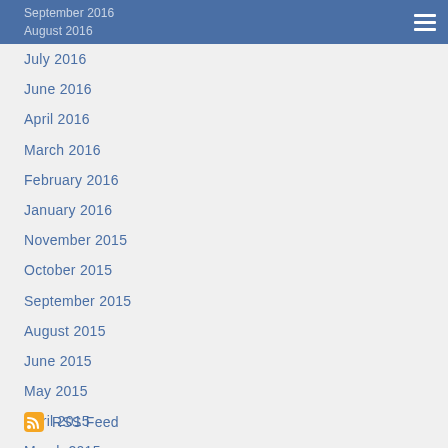September 2016
August 2016
July 2016
June 2016
April 2016
March 2016
February 2016
January 2016
November 2015
October 2015
September 2015
August 2015
June 2015
May 2015
April 2015
March 2015
October 2014
September 2014
RSS Feed